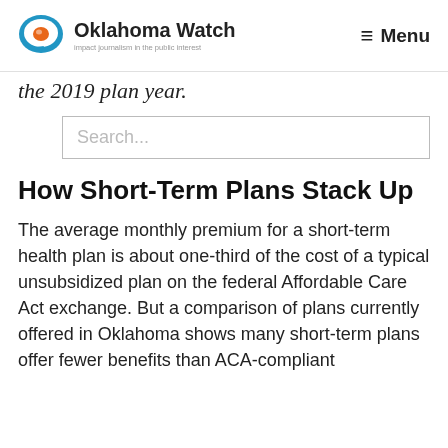Oklahoma Watch — Impact journalism in the public interest | Menu
the 2019 plan year.
Search...
How Short-Term Plans Stack Up
The average monthly premium for a short-term health plan is about one-third of the cost of a typical unsubsidized plan on the federal Affordable Care Act exchange. But a comparison of plans currently offered in Oklahoma shows many short-term plans offer fewer benefits than ACA-compliant